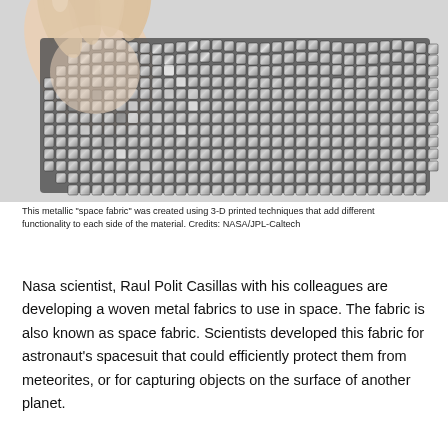[Figure (photo): A hand holding a flexible metallic 'space fabric' made of interlocking square metal tiles arranged in a grid pattern, resembling chainmail. The fabric drapes and bends, showing its flexibility. The tiles are silver/grey colored. Background is a light grey surface.]
This metallic "space fabric" was created using 3-D printed techniques that add different functionality to each side of the material. Credits: NASA/JPL-Caltech
Nasa scientist, Raul Polit Casillas with his colleagues are developing a woven metal fabrics to use in space. The fabric is also known as space fabric. Scientists developed this fabric for astronaut's spacesuit that could efficiently protect them from meteorites, or for capturing objects on the surface of another planet.